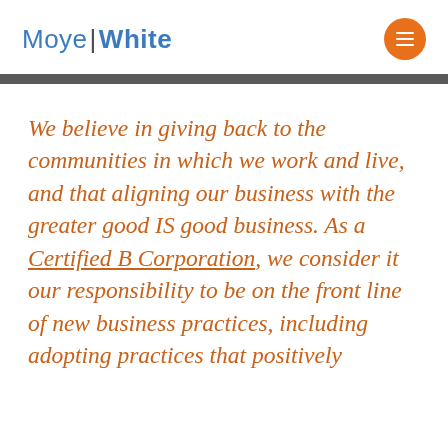Moye|White
We believe in giving back to the communities in which we work and live, and that aligning our business with the greater good IS good business. As a Certified B Corporation, we consider it our responsibility to be on the front line of new business practices, including adopting practices that positively